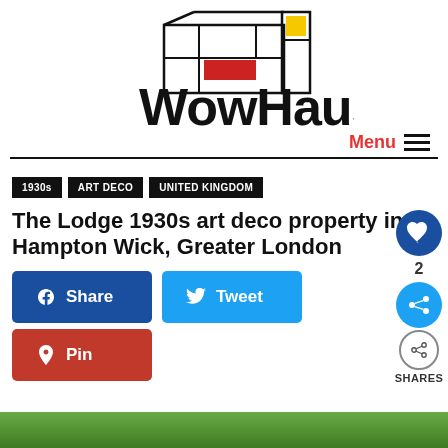[Figure (logo): WowHaus logo with abstract modernist house graphic using black lines with red and yellow rectangular color blocks, bold black text 'WowHaus' below]
Menu ≡
1930s
ART DECO
UNITED KINGDOM
The Lodge 1930s art deco property in Hampton Wick, Greater London
Share
Tweet
Pin
2 SHARES